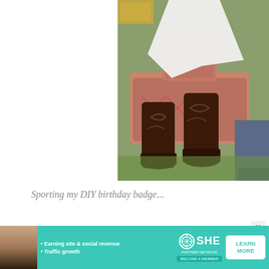[Figure (photo): Photo of someone wearing dark brown cowboy boots, sitting on a vintage floral armchair outdoors on grass. The person is wearing a white dress/skirt. Another person in jeans is partially visible.]
Sporting my DIY birthday badge...
[Figure (photo): Partial second photo visible at bottom of page, colorful outdoor scene.]
[Figure (infographic): SHE Partner Network advertisement banner: Earning site & social revenue, Traffic growth. LEARN MORE button. BECOME A MEMBER button.]